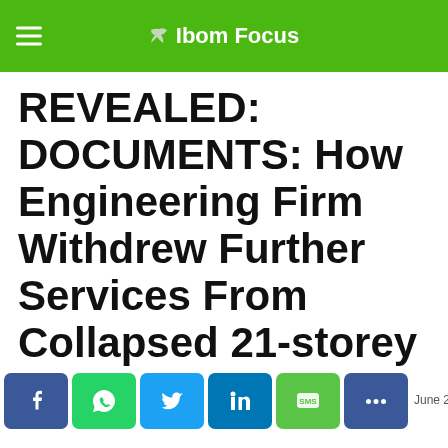Ibom Focus
REVEALED: DOCUMENTS: How Engineering Firm Withdrew Further Services From Collapsed 21-storey Lagos Building, Full Details
Facebook WhatsApp Twitter LinkedIn SMS More | [date] Min Read